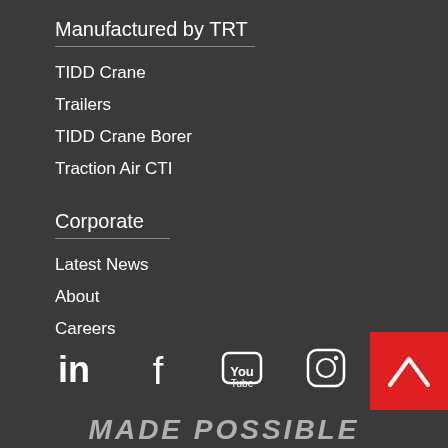Manufactured by TRT
TIDD Crane
Trailers
TIDD Crane Borer
Traction Air CTI
Corporate
Latest News
About
Careers
[Figure (logo): Social media icons row: LinkedIn, Facebook, YouTube, Instagram. Red back-to-top button with chevron.]
MADE POSSIBLE